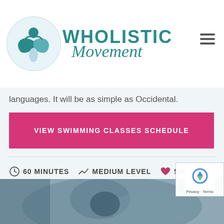[Figure (logo): Wholistic Movement logo: teal/blue ribbon figure with circle background, text 'WHOLISTIC Movement' in teal.]
languages. It will be as simple as Occidental.
VIEW SWIMMING CLASSES SCHEDULE
60 MINUTES
MEDIUM LEVEL
500 KCAL
[Figure (photo): Cropped photo of a person exercising, partially visible at bottom of page.]